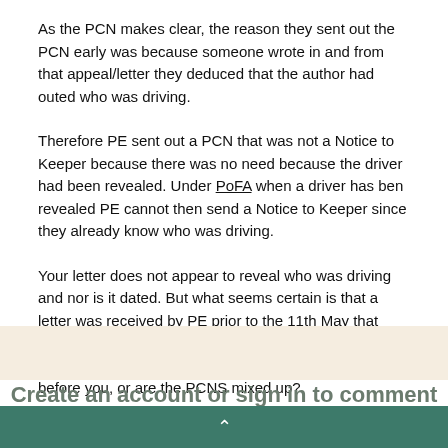As the PCN makes clear, the reason they sent out the PCN early was because someone wrote in and from that appeal/letter they deduced that the author had outed who was driving.
Therefore PE sent out a PCN that was not a Notice to Keeper because there was no need because the driver had been revealed. Under PoFA when a driver has ben revealed PE cannot then send a Notice to Keeper since they already know who was driving.
Your letter does not appear to reveal who was driving and nor is it dated. But what seems certain is that a letter was received by PE prior to the 11th May that triggered their response.  Who was the PCN addressed to? Are you sure your colleague didn't write to PE before you, or are the PCNS mixed up?
Create an account or sign in to comment